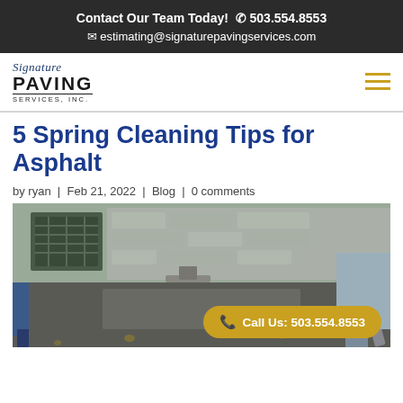Contact Our Team Today! 503.554.8553 estimating@signaturepavingservices.com
[Figure (logo): Signature Paving Services Inc. logo with script Signature above bold PAVING SERVICES, INC.]
5 Spring Cleaning Tips for Asphalt
by ryan | Feb 21, 2022 | Blog | 0 comments
[Figure (photo): Workers paving/cleaning asphalt on a street, with shovels and tools visible. One worker is using a long-handled tool to spread asphalt.]